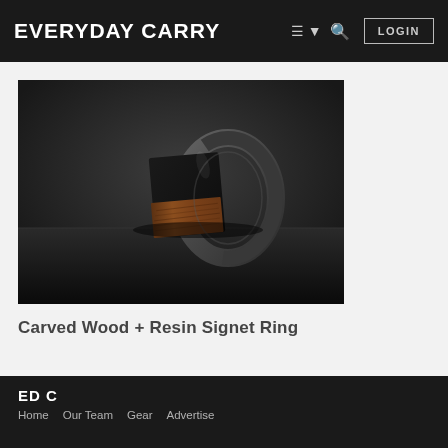EVERYDAY CARRY  ☰ ▼  🔍  LOGIN
[Figure (photo): Close-up photo of a carved wood and resin signet ring with a dark gunmetal band, sitting on a dark surface against a dark gray background. The ring features a flat top face with black resin and wood grain inlay.]
Carved Wood + Resin Signet Ring
ED C  Home  Our Team  Gear  Advertise